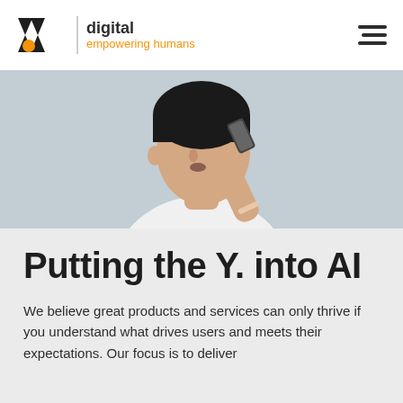[Figure (logo): Company logo with double chevron/arrow icon in black with orange dot, vertical divider, bold 'digital' text, and orange tagline 'empowering humans']
[Figure (photo): Young man in white t-shirt holding a smartphone up to his mouth as if using voice assistant, against a light gray wall background]
Putting the Y. into AI
We believe great products and services can only thrive if you understand what drives users and meets their expectations. Our focus is to deliver